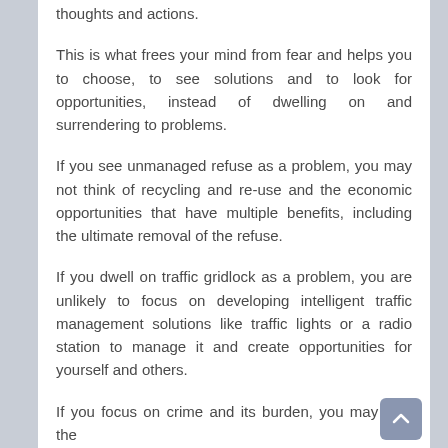thoughts and actions.
This is what frees your mind from fear and helps you to choose, to see solutions and to look for opportunities, instead of dwelling on and surrendering to problems.
If you see unmanaged refuse as a problem, you may not think of recycling and re-use and the economic opportunities that have multiple benefits, including the ultimate removal of the refuse.
If you dwell on traffic gridlock as a problem, you are unlikely to focus on developing intelligent traffic management solutions like traffic lights or a radio station to manage it and create opportunities for yourself and others.
If you focus on crime and its burden, you may lose the